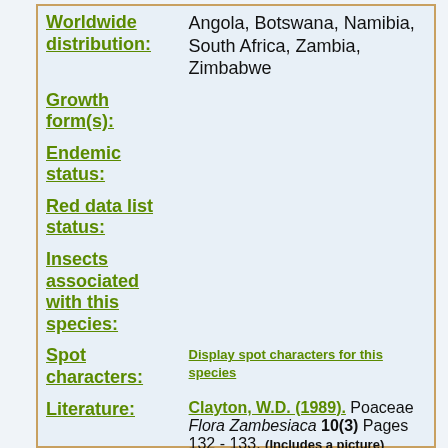Worldwide distribution: Angola, Botswana, Namibia, South Africa, Zambia, Zimbabwe
Growth form(s):
Endemic status:
Red data list status:
Insects associated with this species:
Spot characters: Display spot characters for this species
Literature: Clayton, W.D. (1989). Poaceae Flora Zambesiaca 10(3) Pages 132 - 133. (Includes a picture)